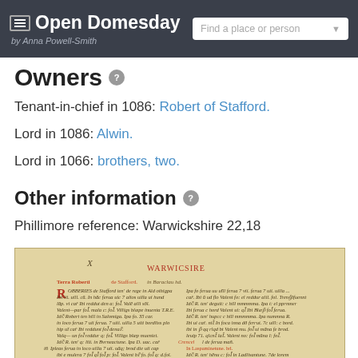Open Domesday by Anna Powell-Smith | Find a place or person
Owners
Tenant-in-chief in 1086: Robert of Stafford.
Lord in 1086: Alwin.
Lord in 1066: brothers, two.
Other information
Phillimore reference: Warwickshire 22,18
[Figure (photo): A scanned page from the Domesday Book manuscript showing medieval Latin text in brown ink on parchment, with red decorative initial letters and the heading WARWICSIRE visible near the top.]